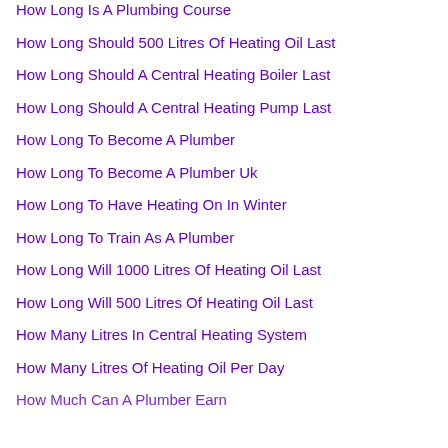How Long Is A Plumbing Course
How Long Should 500 Litres Of Heating Oil Last
How Long Should A Central Heating Boiler Last
How Long Should A Central Heating Pump Last
How Long To Become A Plumber
How Long To Become A Plumber Uk
How Long To Have Heating On In Winter
How Long To Train As A Plumber
How Long Will 1000 Litres Of Heating Oil Last
How Long Will 500 Litres Of Heating Oil Last
How Many Litres In Central Heating System
How Many Litres Of Heating Oil Per Day
How Much Can A Plumber Earn